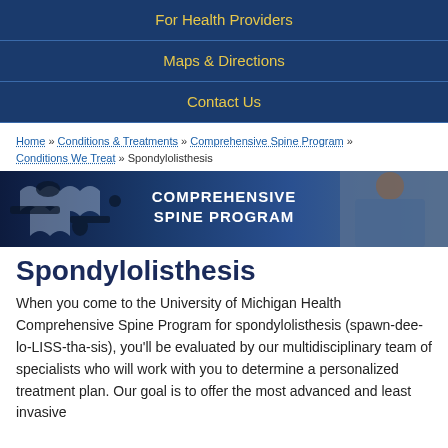For Health Providers
Maps & Directions
Contact Us
Home » Conditions & Treatments » Comprehensive Spine Program » Conditions We Treat » Spondylolisthesis
[Figure (photo): Comprehensive Spine Program banner with puzzle piece logo on left and person holding lower back on right, white text reads COMPREHENSIVE SPINE PROGRAM]
Spondylolisthesis
When you come to the University of Michigan Health Comprehensive Spine Program for spondylolisthesis (spawn-dee-lo-LISS-tha-sis), you'll be evaluated by our multidisciplinary team of specialists who will work with you to determine a personalized treatment plan. Our goal is to offer the most advanced and least invasive